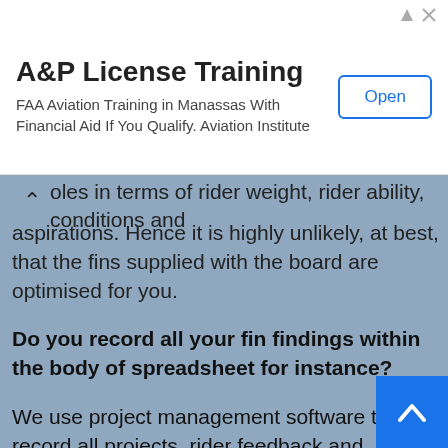[Figure (screenshot): Advertisement banner for A&P License Training. Shows title 'A&P License Training', body text 'FAA Aviation Training in Manassas With Financial Aid If You Qualify. Aviation Institute', and an 'Open' button on the right.]
oles in terms of rider weight, rider ability, conditions and aspirations. Hence it is highly unlikely, at best, that the fins supplied with the board are optimised for you.
Do you record all your fin findings within the body of spreadsheet for instance?
We use project management software to record all projects, rider feedback and requests. This is confidential but I release certain snippets. Prior to 2016 everything was managed in spreadsheets and via email and it was very challenging. With the implementation of the right software, which is also deployed to our team riders, we are able to collate real-time data and feedback at the beach on our cell phones. Tom immediately gets that and can have a new design idea ready before we have driven home. Zero emails clogging up the